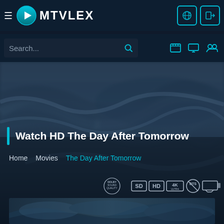MTVLEX
Search...
Watch HD The Day After Tomorrow
Home  Movies  The Day After Tomorrow
[Figure (screenshot): Quality badges: Dolby Sound Quality, SD, HD, 4K Ultra, DTS, Chromecast icons]
[Figure (photo): Bottom strip showing The Day After Tomorrow movie thumbnail with stormy/icy scene]